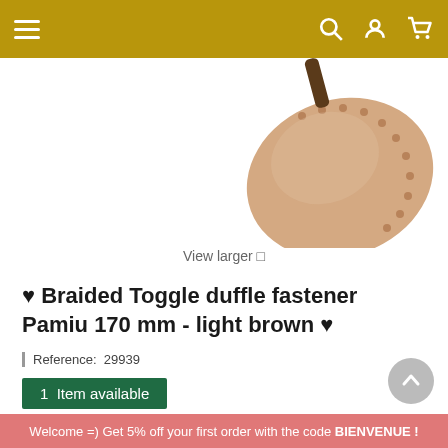Navigation bar with menu, search, account, and cart icons
[Figure (photo): Partial product photo showing a braided leather toggle duffle fastener in light brown/rose gold color with stitched dots around the edge, photographed from above on white background]
View larger
♥ Braided Toggle duffle fastener Pamiu 170 mm - light brown ♥
Reference: 29939
1 Item available
12,38 € 6,19 € -50%
Welcome =) Get 5% off your first order with the code BIENVENUE !